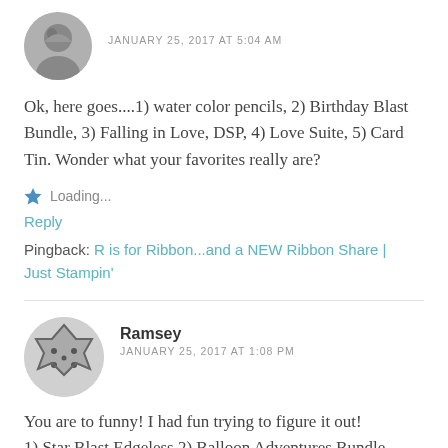JANUARY 25, 2017 AT 5:04 AM
Ok, here goes....1) water color pencils, 2) Birthday Blast Bundle, 3) Falling in Love, DSP, 4) Love Suite, 5) Card Tin. Wonder what your favorites really are?
Loading...
Reply
Pingback: R is for Ribbon...and a NEW Ribbon Share | Just Stampin'
Ramsey
JANUARY 25, 2017 AT 1:08 PM
You are to funny! I had fun trying to figure it out! 1) Star Blast Edgeless 2) Balloon Adventures Bundle